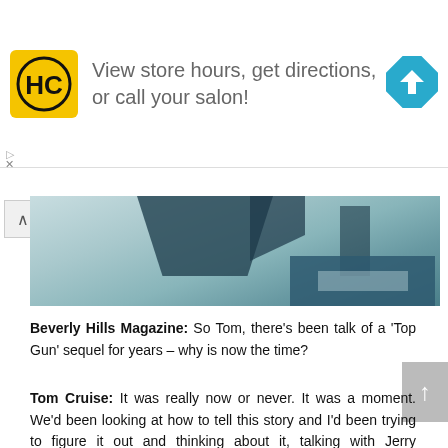[Figure (infographic): Advertisement banner for a hair care/salon service showing HC logo, text 'View store hours, get directions, or call your salon!' and a blue direction arrow icon]
[Figure (photo): Partial photo showing what appears to be a modern building or aircraft interior with blue-tinted architecture, partially cropped]
Beverly Hills Magazine: So Tom, there's been talk of a 'Top Gun' sequel for years – why is now the time?
Tom Cruise: It was really now or never. It was a moment. We'd been looking at how to tell this story and I'd been trying to figure it out and thinking about it, talking with Jerry [Bruckheimer] and, you know, talked to Chris McQuarrie and Jo [Kosinski]. When we were doing 'Oblivion', Jo kept talking about 'Top Gun'. I was always thinking of the technology, how it would evolve to be able